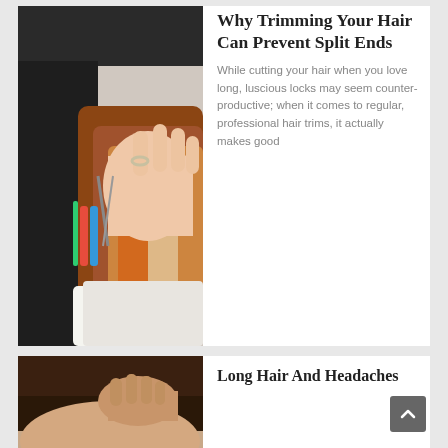[Figure (photo): Close-up photo of a hairdresser's hand holding rainbow-colored scissors cutting auburn/brown long hair against a white background]
Why Trimming Your Hair Can Prevent Split Ends
While cutting your hair when you love long, luscious locks may seem counter-productive; when it comes to regular, professional hair trims, it actually makes good
[Figure (photo): Photo of a woman with dark hair touching her head, possibly experiencing a headache]
Long Hair And Headaches